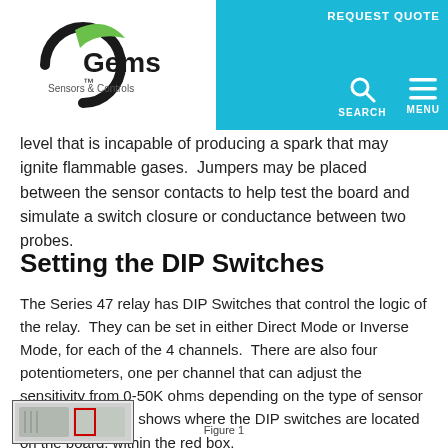Gems Sensors & Controls — REQUEST QUOTE | SEARCH | MENU
level that is incapable of producing a spark that may ignite flammable gases.  Jumpers may be placed between the sensor contacts to help test the board and simulate a switch closure or conductance between two probes.
Setting the DIP Switches
The Series 47 relay has DIP Switches that control the logic of the relay.  They can be set in either Direct Mode or Inverse Mode, for each of the 4 channels.  There are also four potentiometers, one per channel that can adjust the sensitivity from 0-50K ohms depending on the type of sensor used.  The below shows where the DIP switches are located on the board, within the red box.
Figure 1
[Figure (photo): Thumbnail photo of the Series 47 relay board with a red box highlighting the DIP switch location.]